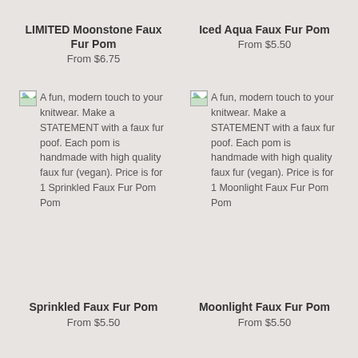LIMITED Moonstone Faux Fur Pom
From $6.75
Iced Aqua Faux Fur Pom
From $5.50
A fun, modern touch to your knitwear. Make a STATEMENT with a faux fur poof. Each pom is handmade with high quality faux fur (vegan). Price is for 1 Sprinkled Faux Fur Pom Pom
A fun, modern touch to your knitwear. Make a STATEMENT with a faux fur poof. Each pom is handmade with high quality faux fur (vegan). Price is for 1 Moonlight Faux Fur Pom Pom
Sprinkled Faux Fur Pom
From $5.50
Moonlight Faux Fur Pom
From $5.50